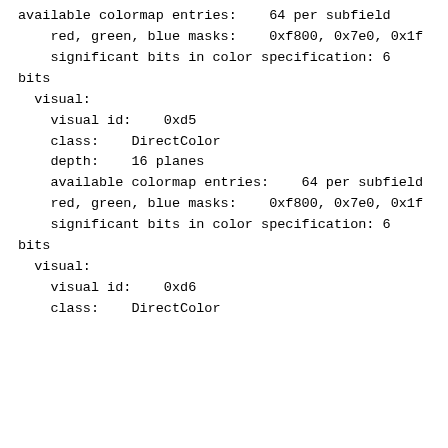available colormap entries:    64 per subfield
    red, green, blue masks:    0xf800, 0x7e0, 0x1f
    significant bits in color specification: 6 bits
  visual:
    visual id:    0xd5
    class:    DirectColor
    depth:    16 planes
    available colormap entries:    64 per subfield
    red, green, blue masks:    0xf800, 0x7e0, 0x1f
    significant bits in color specification: 6 bits
  visual:
    visual id:    0xd6
    class:    DirectColor